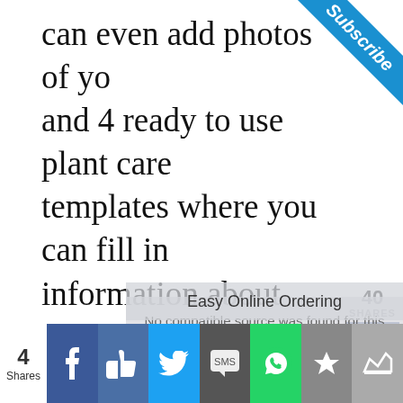can even add photos of your plants and 4 ready to use plant care templates where you can fill in information about your houseplants and their care, create a shopping list, print out plant tags and even leave your plant sitter care notes.
There are 17 total pages in this journal that you can print out
[Figure (infographic): Subscribe ribbon banner in top-right corner, blue diagonal band with italic white text 'Subscribe']
[Figure (infographic): Social share sidebar showing 40 SHARES, Facebook button (36), Twitter button, Pinterest button (4)]
No compatible source was found for this media.
Easy Online Ordering
[Figure (infographic): Bottom social share bar with 4 Shares count, Facebook, Like, Twitter, SMS, WhatsApp, Star, Crown buttons]